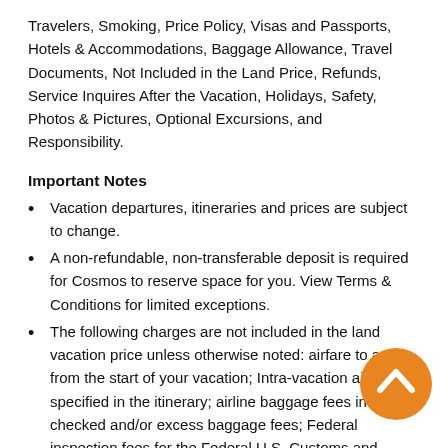Travelers, Smoking, Price Policy, Visas and Passports, Hotels & Accommodations, Baggage Allowance, Travel Documents, Not Included in the Land Price, Refunds, Service Inquires After the Vacation, Holidays, Safety, Photos & Pictures, Optional Excursions, and Responsibility.
Important Notes
Vacation departures, itineraries and prices are subject to change.
A non-refundable, non-transferable deposit is required for Cosmos to reserve space for you. View Terms & Conditions for limited exceptions.
The following charges are not included in the land vacation price unless otherwise noted: airfare to and from the start of your vacation; Intra-vacation air unless specified in the itinerary; airline baggage fees including checked and/or excess baggage fees; Federal inspection fees for the Federal U.S. Customs and Immigrations; International Air Transportation tax; agricultural tax; other per person taxes imposed by government entities; airport taxes and fees including the September 11th Security fee up to $0 per person, passenger facility charges up to $18 per person, Federal